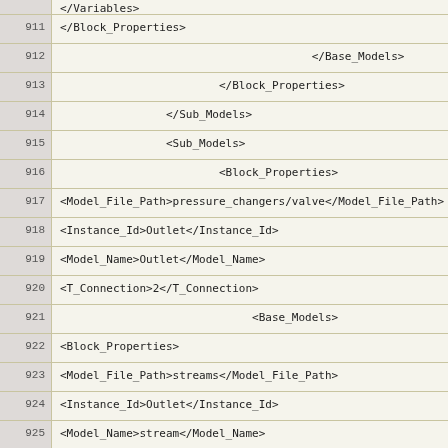</Variables>
911  </Block_Properties>
912    </Base_Models>
913   </Block_Properties>
914  </Sub_Models>
915  <Sub_Models>
916   <Block_Properties>
917  <Model_File_Path>pressure_changers/valve</Model_File_Path>
918  <Instance_Id>Outlet</Instance_Id>
919  <Model_Name>Outlet</Model_Name>
920  <T_Connection>2</T_Connection>
921   <Base_Models>
922  <Block_Properties>
923  <Model_File_Path>streams</Model_File_Path>
924  <Instance_Id>Outlet</Instance_Id>
925  <Model_Name>stream</Model_Name>
926  <T_Connection>2</T_Connection>
927  <Parameters>
928  <Desc>NComp</Desc>
929  <Index>0</Index>
930  <Values>2</Values>